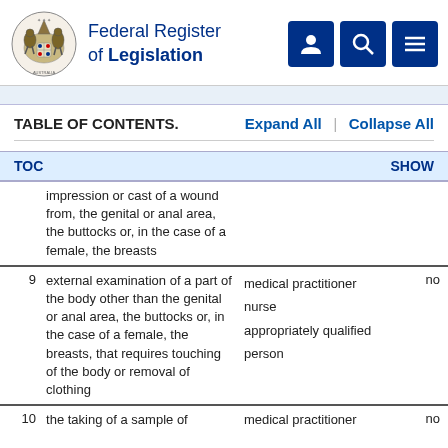Federal Register of Legislation
TABLE OF CONTENTS.   Expand All  |  Collapse All
TOC   SHOW
|  | Description | Who | Flag |
| --- | --- | --- | --- |
|  | impression or cast of a wound from, the genital or anal area, the buttocks or, in the case of a female, the breasts |  |  |
| 9 | external examination of a part of the body other than the genital or anal area, the buttocks or, in the case of a female, the breasts, that requires touching of the body or removal of clothing | medical practitioner
nurse
appropriately qualified person | no |
| 10 | the taking of a sample of | medical practitioner | no |